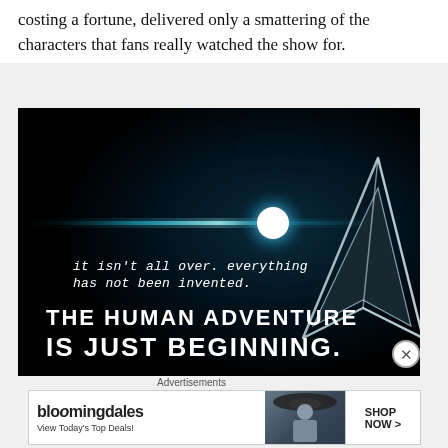costing a fortune, delivered only a smattering of the characters that fans really watched the show for.
[Figure (photo): Star Trek promotional image with dark space background, the Starfleet insignia/delta shield in silver, a bright lens flare/light streak across the middle, and white text reading: 'it isn't all over. everything has not been invented. THE HUMAN ADVENTURE IS JUST BEGINNING.']
Advertisements
[Figure (screenshot): Bloomingdale's advertisement banner with logo text 'bloomingdales', subtitle 'View Today's Top Deals!', image of woman in hat, and 'SHOP NOW >' button]